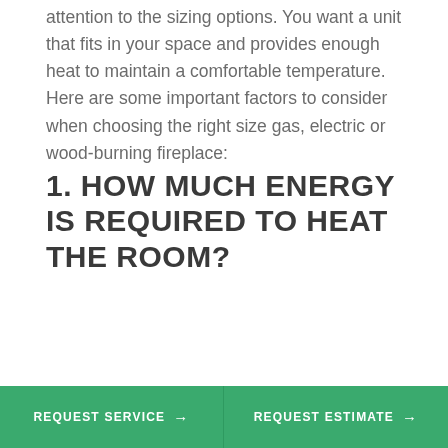attention to the sizing options. You want a unit that fits in your space and provides enough heat to maintain a comfortable temperature. Here are some important factors to consider when choosing the right size gas, electric or wood-burning fireplace:
1. HOW MUCH ENERGY IS REQUIRED TO HEAT THE ROOM?
REQUEST SERVICE → | REQUEST ESTIMATE →